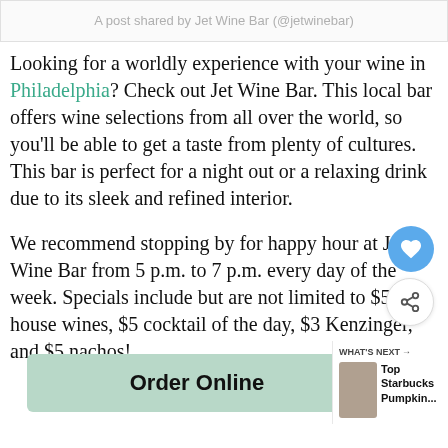A post shared by Jet Wine Bar (@jetwinebar)
Looking for a worldly experience with your wine in Philadelphia? Check out Jet Wine Bar. This local bar offers wine selections from all over the world, so you’ll be able to get a taste from plenty of cultures. This bar is perfect for a night out or a relaxing drink due to its sleek and refined interior.
We recommend stopping by for happy hour at Jet Wine Bar from 5 p.m. to 7 p.m. every day of the week. Specials include but are not limited to $5 house wines, $5 cocktail of the day, $3 Kenzinger, and $5 nachos!
Order Online
WHAT’S NEXT → Top Starbucks Pumpkin...